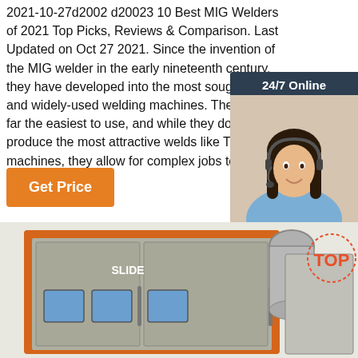2021-10-27d2002 d20023 10 Best MIG Welders of 2021 Top Picks, Reviews & Comparison. Last Updated on Oct 27 2021. Since the invention of the MIG welder in the early nineteenth century, they have developed into the most sought after and widely-used welding machines. They are by far the easiest to use, and while they don't produce the most attractive welds like TIG machines, they allow for complex jobs to make ...
[Figure (other): Chat widget with agent photo, '24/7 Online' header, 'Click here for free chat!' text, and QUOTATION button]
[Figure (other): Button labeled 'Get Price' in orange]
[Figure (photo): Industrial equipment photo showing an orange and grey machine with 'SLIDE' branding and ductwork, with a 'TOP' logo overlay]